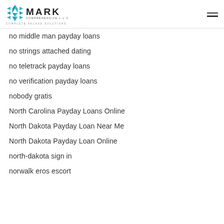MARK COMPREHENSIVE L.L.C COMPLETE FACADE SOLUTIONS
no middle man payday loans
no strings attached dating
no teletrack payday loans
no verification payday loans
nobody gratis
North Carolina Payday Loans Online
North Dakota Payday Loan Near Me
North Dakota Payday Loan Online
north-dakota sign in
norwalk eros escort